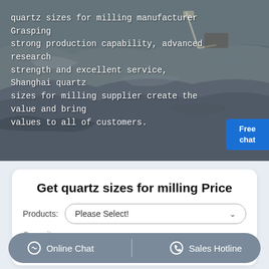[Figure (photo): Aerial view of a quarry or mining site with dark grey rocky terrain and industrial equipment, overlaid with white text about quartz sizes for milling. A customer service representative illustration and a blue 'Free chat' button appear in the lower right corner.]
quartz sizes for milling manufacturer Grasping strong production capability, advanced research strength and excellent service, Shanghai quartz sizes for milling supplier create the value and bring values to all of customers.
Get quartz sizes for milling Price
Products: Please Select!
Capacity:
Online Chat | Sales Hotline